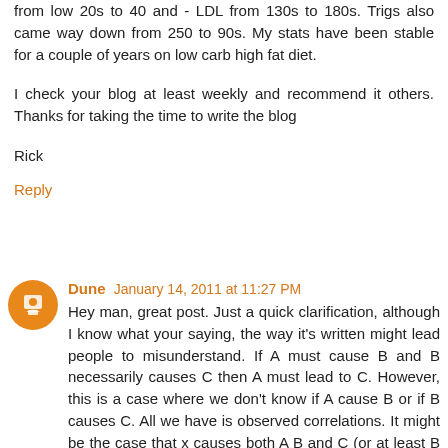from low 20s to 40 and - LDL from 130s to 180s. Trigs also came way down from 250 to 90s. My stats have been stable for a couple of years on low carb high fat diet.
I check your blog at least weekly and recommend it others. Thanks for taking the time to write the blog
Rick
Reply
Dune  January 14, 2011 at 11:27 PM
Hey man, great post. Just a quick clarification, although I know what your saying, the way it's written might lead people to misunderstand. If A must cause B and B necessarily causes C then A must lead to C. However, this is a case where we don't know if A cause B or if B causes C. All we have is observed correlations. It might be the case that x causes both A B and C (or at least B and C in this case). Sorry if this is nitpicking; I guess it's just an idiosyncrasy, but the correct way of writing that ** would be to say something like 'it's a logical fallacy to assume that